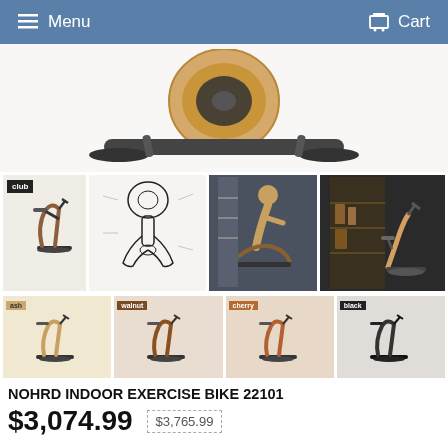Menu  Cart
[Figure (photo): Close-up top view of NOHRD indoor exercise bike flywheel and frame, showing wooden construction and metal base]
[Figure (photo): Small thumbnail: club model bike in dark wood with black label]
[Figure (engineering-diagram): Top-down schematic/blueprint view of exercise bike with labeled parts]
[Figure (photo): Woman using NOHRD exercise bike in gym setting]
[Figure (photo): NOHRD exercise bike in room with wooden shelving]
[Figure (photo): Color variant: ash wood exercise bike]
[Figure (photo): Color variant: walnut wood exercise bike]
[Figure (photo): Color variant: cherry wood exercise bike]
[Figure (photo): Color variant: black exercise bike]
NOHRD INDOOR EXERCISE BIKE 22101
$3,074.99  $3,765.99